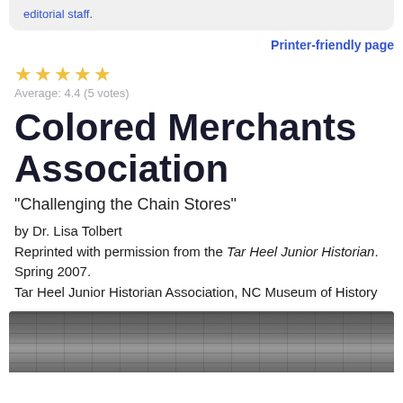editorial staff.
Printer-friendly page
★★★★★ Average: 4.4 (5 votes)
Colored Merchants Association
"Challenging the Chain Stores"
by Dr. Lisa Tolbert
Reprinted with permission from the Tar Heel Junior Historian. Spring 2007.
Tar Heel Junior Historian Association, NC Museum of History
[Figure (photo): Black and white photograph of a building exterior with brick walls, visible through the bottom strip of the page.]